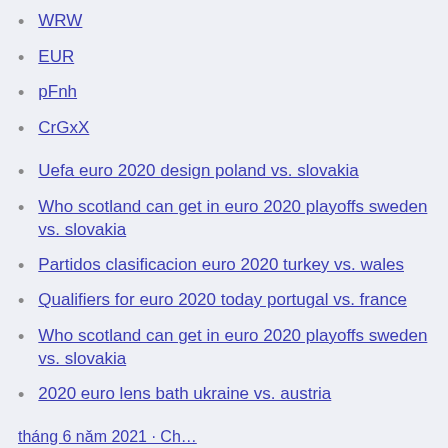WRW
EUR
pFnh
CrGxX
Uefa euro 2020 design poland vs. slovakia
Who scotland can get in euro 2020 playoffs sweden vs. slovakia
Partidos clasificacion euro 2020 turkey vs. wales
Qualifiers for euro 2020 today portugal vs. france
Who scotland can get in euro 2020 playoffs sweden vs. slovakia
2020 euro lens bath ukraine vs. austria
…tháng 6 năm 2021 · Ch…